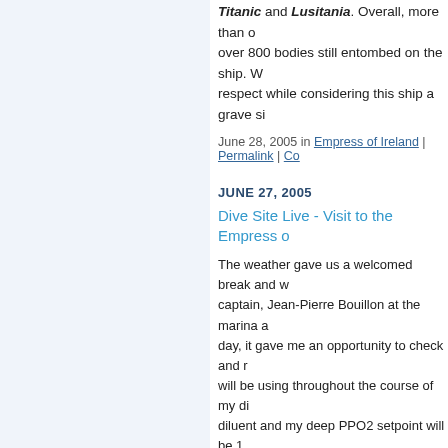Titanic and Lusitania. Overall, more than over 800 bodies still entombed on the ship. respect while considering this ship a grave si
June 28, 2005 in Empress of Ireland | Permalink | Co
JUNE 27, 2005
Dive Site Live - Visit to the Empress o
The weather gave us a welcomed break and captain, Jean-Pierre Bouillon at the marina a day, it gave me an opportunity to check and will be using throughout the course of my di diluent and my deep PPO2 setpoint will be 1 New Jersey's upincoming leading wreck dive Ray Stine, all making their first dives to the Rimouski marina is only a brief 25 minutes a place our mooring right at the forward mid-s first dive team to the shipwreck consisted of circumnavigate the entire bow from the tie-in two portholes that are in the first class dining hard-hat divers used to get the mail and silve the wreck, it was very dark and I led Charlie teak flooring is readily apparent. We proceed